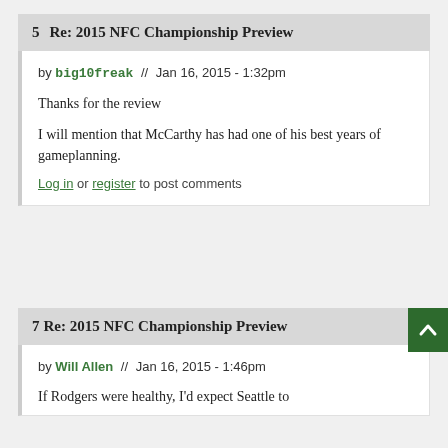5  Re: 2015 NFC Championship Preview
by big10freak // Jan 16, 2015 - 1:32pm
Thanks for the review
I will mention that McCarthy has had one of his best years of gameplanning.
Log in or register to post comments
7  Re: 2015 NFC Championship Preview
by Will Allen // Jan 16, 2015 - 1:46pm
If Rodgers were healthy, I'd expect Seattle to